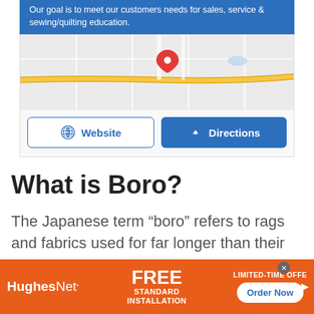Our goal is to meet our customers needs for sales, service & sewing/quilting education.
[Figure (map): Google map snippet showing a red location pin on a road with yellow highway running horizontally]
[Figure (other): Website and Directions buttons below map]
What is Boro?
The Japanese term “boro” refers to rags and fabrics used for far longer than their expected lifespan. In order to recycle, transform, and
[Figure (other): HughesNet advertisement banner: FREE STANDARD INSTALLATION, LIMITED-TIME OFFER, Order Now button]